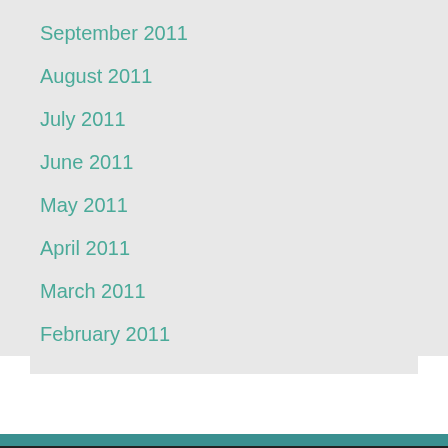September 2011
August 2011
July 2011
June 2011
May 2011
April 2011
March 2011
February 2011
ARCHIVES
Select Month